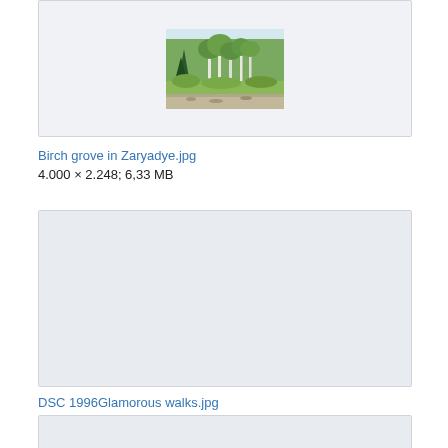[Figure (photo): Birch grove park landscape photo showing trees and shrubs]
Birch grove in Zaryadye.jpg
4.000 × 2.248; 6,33 MB
[Figure (photo): Empty placeholder image box for DSC 1996Glamorous walks.jpg]
DSC 1996Glamorous walks.jpg
4.249 × 2.860; 3,36 MB
[Figure (photo): Partial image box at bottom of page]